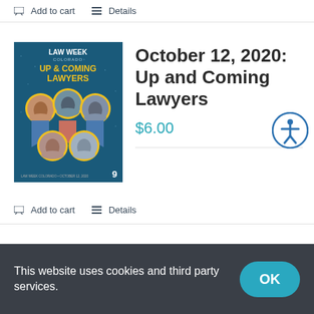Add to cart   Details
[Figure (illustration): Law Week Colorado magazine cover titled 'Up & Coming Lawyers' with circular headshots of lawyers on a blue background, number 9 at bottom right]
October 12, 2020: Up and Coming Lawyers
$6.00
Add to cart   Details
This website uses cookies and third party services.